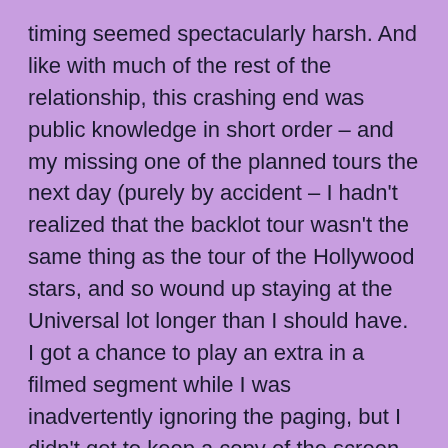timing seemed spectacularly harsh. And like with much of the rest of the relationship, this crashing end was public knowledge in short order – and my missing one of the planned tours the next day (purely by accident – I hadn't realized that the backlot tour wasn't the same thing as the tour of the Hollywood stars, and so wound up staying at the Universal lot longer than I should have. I got a chance to play an extra in a filmed segment while I was inadvertently ignoring the paging, but I didn't get to keep a copy of the screen test as proof) got the entire band absolutely buzzing. Poor Chris thought I had done something rash as a result of being dumped – and when I was found and the situation explained, she was still brought to tears when on the plane back, we bookended our relationship by listening to another one of my songs on my Walkman, one containing the lines